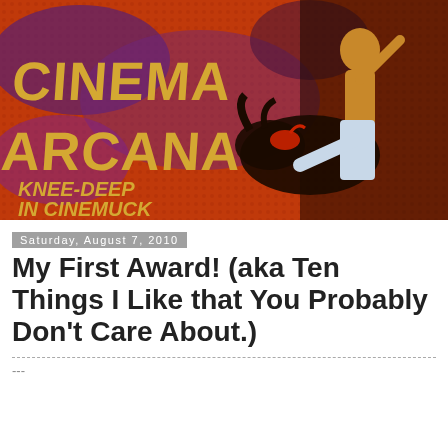[Figure (illustration): Cinema Arcana blog banner — red/orange halftone background with purple blotches, large yellow text 'CINEMA ARCANA' at top left, yellow italic text 'KNEE-DEEP IN CINEMUCK' at bottom left, and a painted illustration of a shirtless martial artist kicking a bull on the right side.]
Saturday, August 7, 2010
My First Award! (aka Ten Things I Like that You Probably Don't Care About.)
---